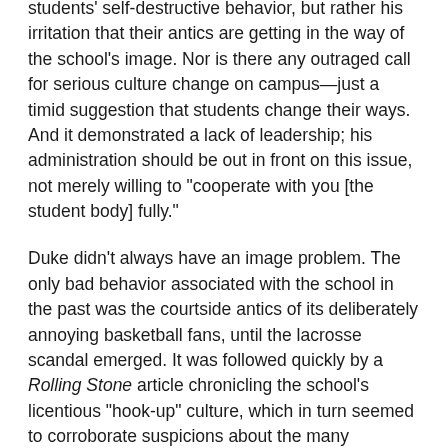students' self-destructive behavior, but rather his irritation that their antics are getting in the way of the school's image. Nor is there any outraged call for serious culture change on campus—just a timid suggestion that students change their ways. And it demonstrated a lack of leadership; his administration should be out in front on this issue, not merely willing to "cooperate with you [the student body] fully."
Duke didn't always have an image problem. The only bad behavior associated with the school in the past was the courtside antics of its deliberately annoying basketball fans, until the lacrosse scandal emerged. It was followed quickly by a Rolling Stone article chronicling the school's licentious "hook-up" culture, which in turn seemed to corroborate suspicions about the many coincidences between Duke and author Tom Wolfe's libidinous DuPont University in his 2004 novel, I Am Charlotte Simmons. Wolfe denied that the two schools were one, although his daughter attended Duke and he interviewed Duke students as background for the novel.
Since then, Duke has suffered under the spotlight, especially in